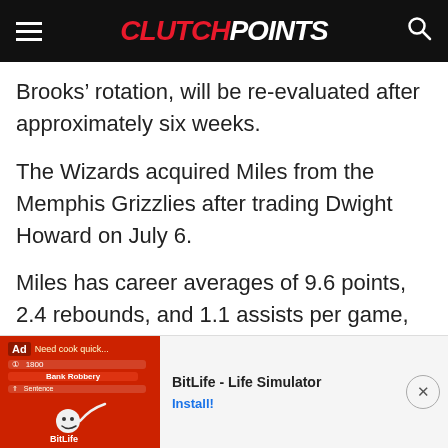ClutchPoints
Brooks’ rotation, will be re-evaluated after approximately six weeks.
The Wizards acquired Miles from the Memphis Grizzlies after trading Dwight Howard on July 6.
Miles has career averages of 9.6 points, 2.4 rebounds, and 1.1 assists per game, but managed only 6.4 points and 1.8 rebounds during a divided stint between the Toronto Raptors and the Grizzlies.
[Figure (screenshot): BitLife - Life Simulator advertisement banner with red background and cartoon face logo, showing Install! button]